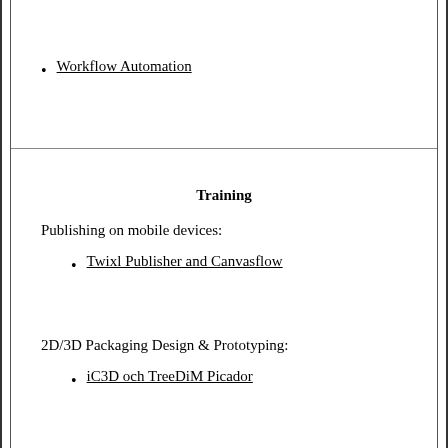Workflow Automation
Training
Publishing on mobile devices:
Twixl Publisher and Canvasflow
2D/3D Packaging Design & Prototyping:
iC3D och TreeDiM Picador